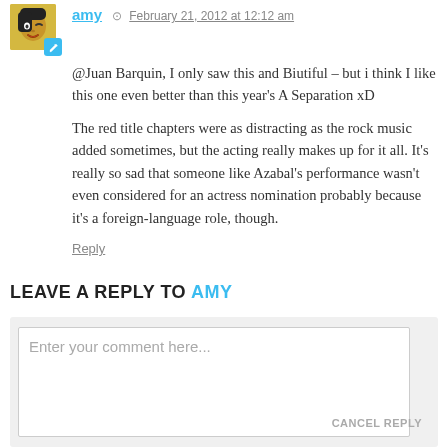[Figure (photo): Avatar image of user 'amy' — stylized yellow/green illustrated portrait with a blue edit icon badge in bottom-right corner]
amy · February 21, 2012 at 12:12 am
@Juan Barquin, I only saw this and Biutiful – but i think I like this one even better than this year's A Separation xD

The red title chapters were as distracting as the rock music added sometimes, but the acting really makes up for it all. It's really so sad that someone like Azabal's performance wasn't even considered for an actress nomination probably because it's a foreign-language role, though.
Reply
LEAVE A REPLY TO AMY
Enter your comment here...
CANCEL REPLY